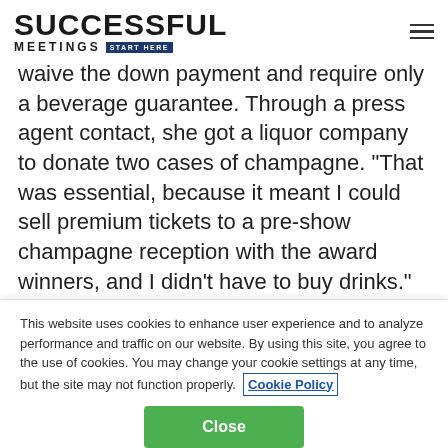SUCCESSFUL MEETINGS START HERE
waive the down payment and require only a beverage guarantee. Through a press agent contact, she got a liquor company to donate two cases of champagne. "That was essential, because it meant I could sell premium tickets to a pre-show champagne reception with the award winners, and I didn't have to buy drinks."
This website uses cookies to enhance user experience and to analyze performance and traffic on our website. By using this site, you agree to the use of cookies. You may change your cookie settings at any time, but the site may not function properly. Cookie Policy
Close